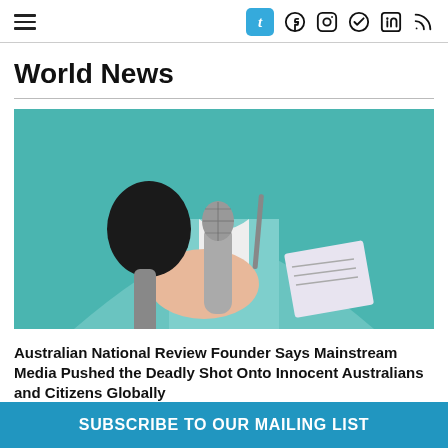World News - navigation header with social icons
World News
[Figure (photo): A journalist or interviewer holding two microphones — one with a black foam windscreen and one silver — along with a notepad, wearing a light teal blazer against a teal background.]
Australian National Review Founder Says Mainstream Media Pushed the Deadly Shot Onto Innocent Australians and Citizens Globally
SUBSCRIBE TO OUR MAILING LIST